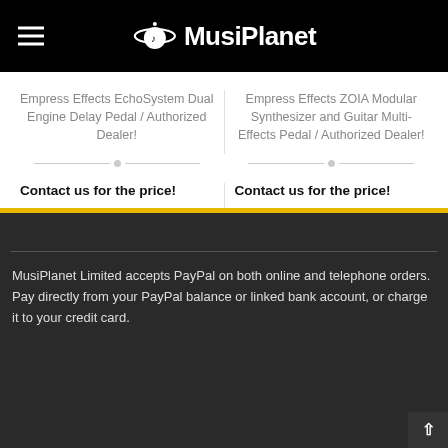MusiPlanet
Empress Effects EchoSystem Dual Engine Delay Pedal / Authorized Dealer!
Empress Effects ZOIA Modular Synthesizer and Guitar Multi-Effects Pedal / Authorized Dealer!
Contact us for the price!
Contact us for the price!
MusiPlanet Limited accepts PayPal on both online and telephone orders. Pay directly from your PayPal balance or linked bank account, or charge it to your credit card.